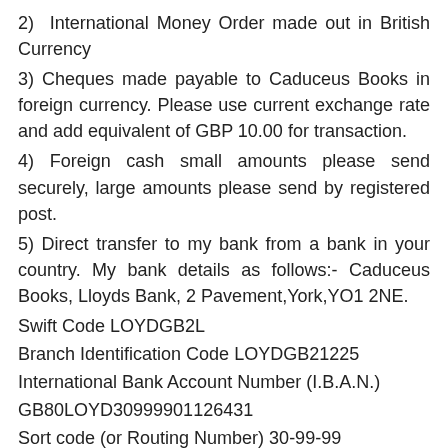2)  International Money Order made out in British Currency
3) Cheques made payable to Caduceus Books in foreign currency. Please use current exchange rate and add equivalent of GBP 10.00 for transaction.
4) Foreign cash small amounts please send securely, large amounts please send by registered post.
5) Direct transfer to my bank from a bank in your country. My bank details as follows:- Caduceus Books, Lloyds Bank, 2 Pavement,York,YO1 2NE.
Swift Code LOYDGB2L
Branch Identification Code LOYDGB21225
International Bank Account Number (I.B.A.N.)
GB80LOYD30999901126431
Sort code (or Routing Number) 30-99-99
Account number 1126 431